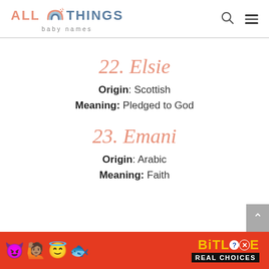ALL THINGS baby names
22. Elsie
Origin: Scottish
Meaning: Pledged to God
23. Emani
Origin: Arabic
Meaning: Faith
[Figure (other): BitLife REAL CHOICES advertisement banner with colorful emojis on red background]